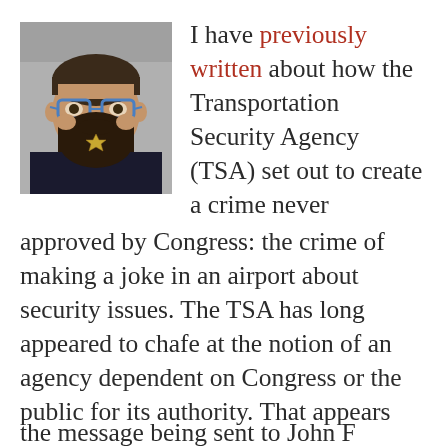[Figure (photo): Mugshot-style photo of a bearded man with blue glasses and a badge pinned to his beard]
I have previously written about how the Transportation Security Agency (TSA) set out to create a crime never approved by Congress: the crime of making a joke in an airport about security issues. The TSA has long appeared to chafe at the notion of an agency dependent on Congress or the public for its authority. That appears the message being sent to John F
the message being sent to John F